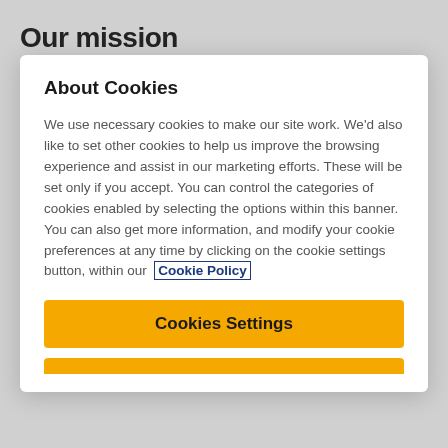Our mission
About Cookies
We use necessary cookies to make our site work. We'd also like to set other cookies to help us improve the browsing experience and assist in our marketing efforts. These will be set only if you accept. You can control the categories of cookies enabled by selecting the options within this banner. You can also get more information, and modify your cookie preferences at any time by clicking on the cookie settings button, within our Cookie Policy
Cookies Settings